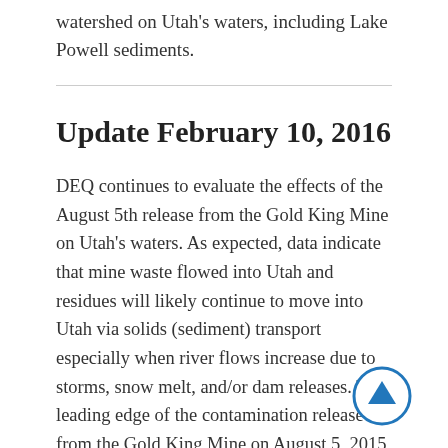watershed on Utah's waters, including Lake Powell sediments.
Update February 10, 2016
DEQ continues to evaluate the effects of the August 5th release from the Gold King Mine on Utah's waters. As expected, data indicate that mine waste flowed into Utah and residues will likely continue to move into Utah via solids (sediment) transport especially when river flows increase due to storms, snow melt, and/or dam releases. The leading edge of the contamination released from the Gold King Mine on August 5, 2015 was estimated to cross into Utah via the San Juan River on August 9, 2015. Rainfall